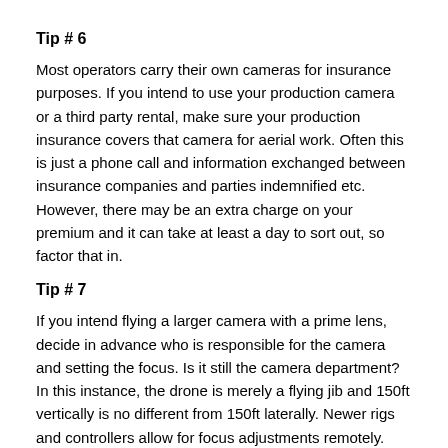Tip # 6
Most operators carry their own cameras for insurance purposes. If you intend to use your production camera or a third party rental, make sure your production insurance covers that camera for aerial work. Often this is just a phone call and information exchanged between insurance companies and parties indemnified etc. However, there may be an extra charge on your premium and it can take at least a day to sort out, so factor that in.
Tip # 7
If you intend flying a larger camera with a prime lens, decide in advance who is responsible for the camera and setting the focus. Is it still the camera department? In this instance, the drone is merely a flying jib and 150ft vertically is no different from 150ft laterally. Newer rigs and controllers allow for focus adjustments remotely. Many still need to handle this manually. It depends on the rig and the camera.
Tip #8